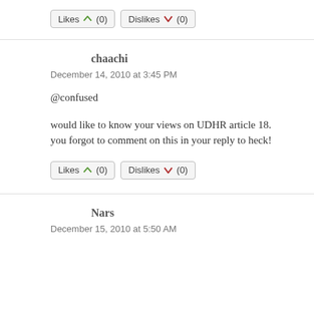[Figure (other): Likes and Dislikes buttons with counts (0) and (0)]
chaachi
December 14, 2010 at 3:45 PM
@confused
would like to know your views on UDHR article 18. you forgot to comment on this in your reply to heck!
[Figure (other): Likes and Dislikes buttons with counts (0) and (0)]
Nars
December 15, 2010 at 5:50 AM